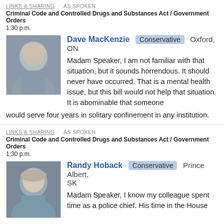LINKS & SHARING   AS SPOKEN
Criminal Code and Controlled Drugs and Substances Act / Government Orders
1:30 p.m.
[Figure (photo): Portrait photo of Dave MacKenzie, older white-haired man in a suit]
Dave MacKenzie  Conservative  Oxford, ON
Madam Speaker, I am not familiar with that situation, but it sounds horrendous. It should never have occurred. That is a mental health issue, but this bill would not help that situation. It is abominable that someone would serve four years in solitary confinement in any institution.
LINKS & SHARING   AS SPOKEN
Criminal Code and Controlled Drugs and Substances Act / Government Orders
1:30 p.m.
[Figure (photo): Portrait photo of Randy Hoback, middle-aged man in a suit]
Randy Hoback  Conservative  Prince Albert, SK
Madam Speaker, I know my colleague spent time as a police chief. His time in the House